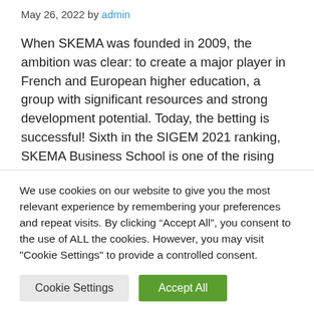May 26, 2022 by admin
When SKEMA was founded in 2009, the ambition was clear: to create a major player in French and European higher education, a group with significant resources and strong development potential. Today, the betting is successful! Sixth in the SIGEM 2021 ranking, SKEMA Business School is one of the rising stars of French higher education…
We use cookies on our website to give you the most relevant experience by remembering your preferences and repeat visits. By clicking “Accept All”, you consent to the use of ALL the cookies. However, you may visit "Cookie Settings" to provide a controlled consent.